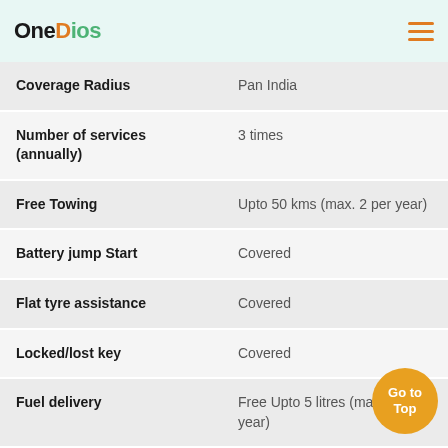OneDios
| Feature | Details |
| --- | --- |
| Coverage Radius | Pan India |
| Number of services (annually) | 3 times |
| Free Towing | Upto 50 kms (max. 2 per year) |
| Battery jump Start | Covered |
| Flat tyre assistance | Covered |
| Locked/lost key | Covered |
| Fuel delivery | Free Upto 5 litres (max. per year) |